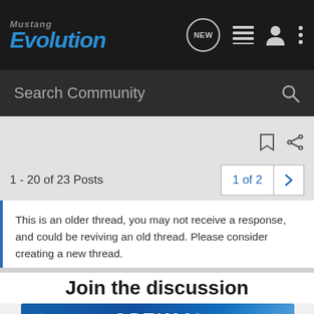Mustang Evolution - navigation bar with logo, new post, list, profile, and more icons
Search Community
1 - 20 of 23 Posts
1 of 2
This is an older thread, you may not receive a response, and could be reviving an old thread. Please consider creating a new thread.
Join the discussion
[Figure (photo): Optima Batteries advertisement banner with blue gradient background, Optima logo with red accent and white text]